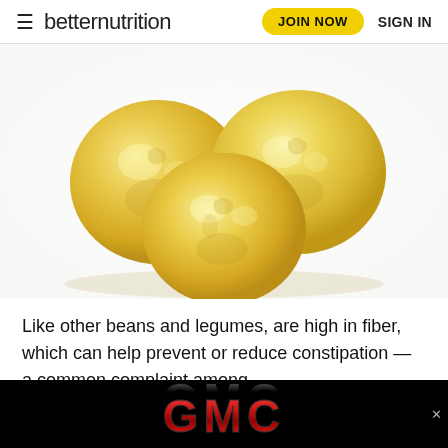betternutrition  JOIN NOW  SIGN IN
[Figure (photo): Three chickpeas (garbanzo beans) close-up on white background]
Like other beans and legumes, are high in fiber, which can help prevent or reduce constipation — a common complaint among people w... ...high eff...
[Figure (logo): GMC logo advertisement banner, black background with red and silver GMC text]